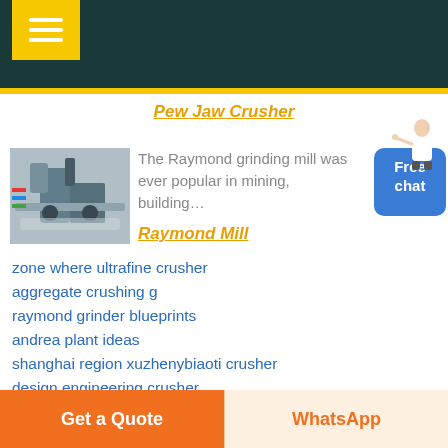[Figure (screenshot): Dark teal navigation header bar with yellow hamburger menu button]
Pew Jaw Crusher
[Figure (photo): Industrial grinding mill machinery photo]
The Raymond grinding mill was ever popular in mining, building…
Raymond Mill
zone where ultrafine crusher
aggregate crushing g
raymond grinder blueprints
andrea plant ideas
shanghai region xuzhenybiaoti crusher
design engineering crusher
flow sheets scholarships
mineral washing system
Get a Quote
WhatsApp